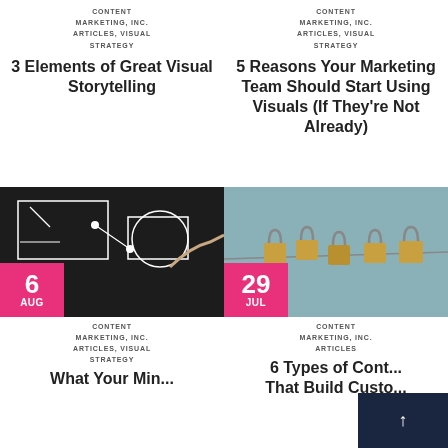CONTENT MARKETING, INC.
ARTICLES, VISUAL STRATEGY
3 Elements of Great Visual Storytelling
CONTENT MARKETING, INC.
ARTICLES, VISUAL STRATEGY
5 Reasons Your Marketing Team Should Start Using Visuals (If They're Not Already)
[Figure (photo): Person drawing a sports play diagram on a chalkboard, date badge reads 6 AUG]
CONTENT MARKETING, INC.
ARTICLES, VISUAL STRATEGY
What Your Mind...
[Figure (photo): Padlocks hanging on a wire, date badge reads 29 JUL]
CONTENT MARKETING, INC.
ARTICLES
6 Types of Cont... That Build Custo...